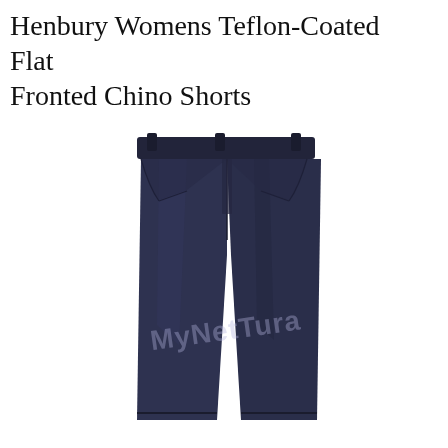Henbury Womens Teflon-Coated Flat Fronted Chino Shorts
[Figure (photo): Product photo of Henbury Womens Teflon-Coated Flat Fronted Chino Shorts in navy/dark blue, showing flat front, belt loops, zip fly, and knee-length cut. Watermark text partially visible across the image.]